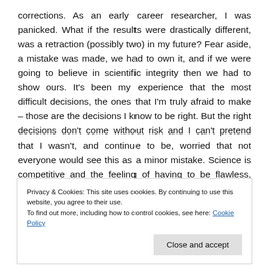corrections. As an early career researcher, I was panicked. What if the results were drastically different, was a retraction (possibly two) in my future? Fear aside, a mistake was made, we had to own it, and if we were going to believe in scientific integrity then we had to show ours. It's been my experience that the most difficult decisions, the ones that I'm truly afraid to make – those are the decisions I know to be right. But the right decisions don't come without risk and I can't pretend that I wasn't, and continue to be, worried that not everyone would see this as a minor mistake. Science is competitive and the feeling of having to be flawless, particularly at this phase of my career, is a weight. As a woman in science I already have to fight to be
Privacy & Cookies: This site uses cookies. By continuing to use this website, you agree to their use.
To find out more, including how to control cookies, see here: Cookie Policy